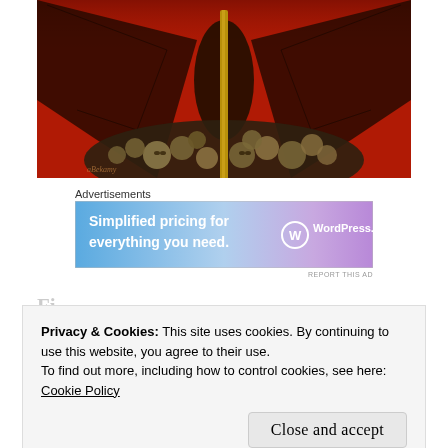[Figure (illustration): Dark fantasy artwork showing a pile of skulls at the base of a central spear/staff, with bat wings spread at the top, against a deep red background. Appears to be a Zdzisław Beksiński or similar dark fantasy style painting.]
Advertisements
[Figure (screenshot): WordPress.com advertisement banner with text 'Simplified pricing for everything you need.' and WordPress.com logo on a blue-purple gradient background.]
REPORT THIS AD
Privacy & Cookies: This site uses cookies. By continuing to use this website, you agree to their use.
To find out more, including how to control cookies, see here:
Cookie Policy
Close and accept
resin statue sculpted by Tony Cipriano was later